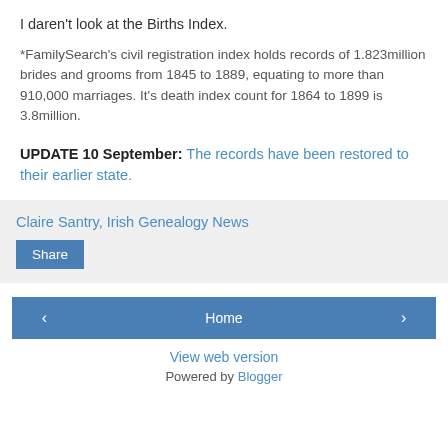I daren't look at the Births Index.
*FamilySearch's civil registration index holds records of 1.823million brides and grooms from 1845 to 1889, equating to more than 910,000 marriages. It's death index count for 1864 to 1899 is 3.8million.
UPDATE 10 September: The records have been restored to their earlier state.
Claire Santry, Irish Genealogy News
Share
Home | View web version | Powered by Blogger